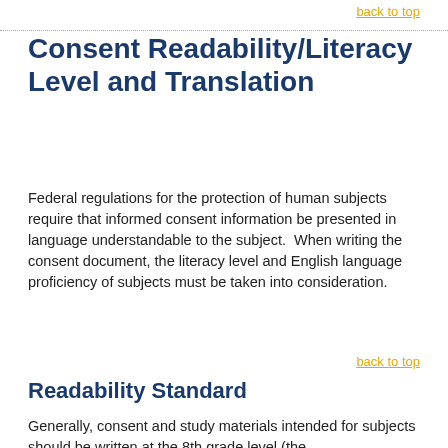back to top
Consent Readability/Literacy Level and Translation
Federal regulations for the protection of human subjects require that informed consent information be presented in language understandable to the subject.  When writing the consent document, the literacy level and English language proficiency of subjects must be taken into consideration.
back to top
Readability Standard
Generally, consent and study materials intended for subjects should be written at the 8th grade level (the